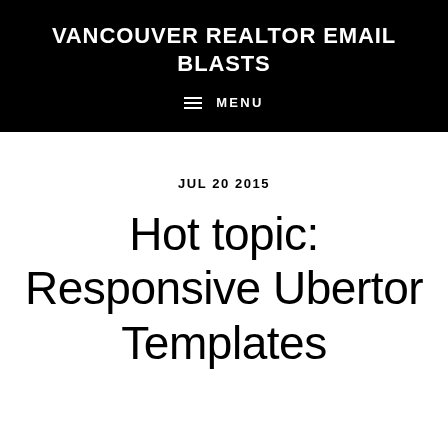VANCOUVER REALTOR EMAIL BLASTS
≡  MENU
JUL 20 2015
Hot topic: Responsive Ubertor Templates